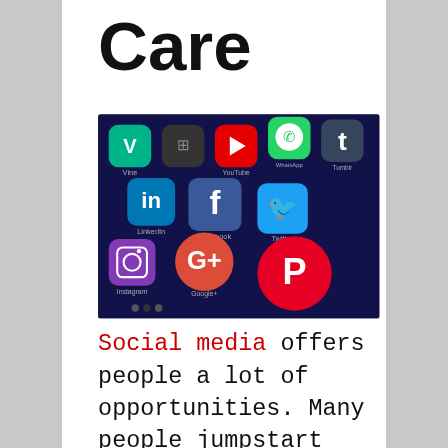Care
[Figure (photo): Smartphone screen showing social media app icons including LinkedIn, Facebook, Twitter, Instagram, Google+, Pinterest, YouTube, Tumblr, WhatsApp, and Vine arranged in a grid on a dark blue background.]
Social media offers people a lot of opportunities. Many people jumpstart their businesses online or use networking sites to find lucrative jobs. Others use